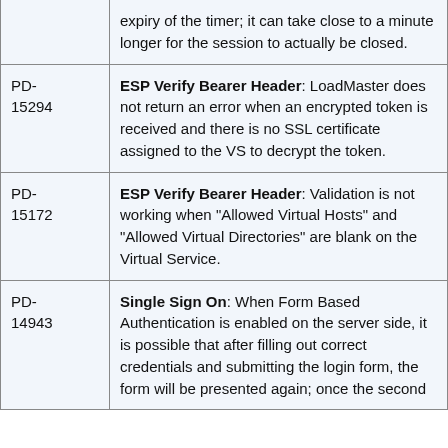| ID | Description |
| --- | --- |
|  | expiry of the timer; it can take close to a minute longer for the session to actually be closed. |
| PD-15294 | ESP Verify Bearer Header: LoadMaster does not return an error when an encrypted token is received and there is no SSL certificate assigned to the VS to decrypt the token. |
| PD-15172 | ESP Verify Bearer Header: Validation is not working when "Allowed Virtual Hosts" and "Allowed Virtual Directories" are blank on the Virtual Service. |
| PD-14943 | Single Sign On: When Form Based Authentication is enabled on the server side, it is possible that after filling out correct credentials and submitting the login form, the form will be presented again; once the second |